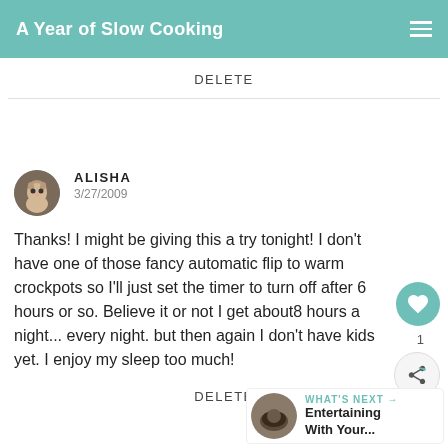A Year of Slow Cooking
DELETE
ALISHA
3/27/2009
Thanks! I might be giving this a try tonight! I don't have one of those fancy automatic flip to warm crockpots so I'll just set the timer to turn off after 6 hours or so. Believe it or not I get about8 hours a night... every night. but then again I don't have kids yet. I enjoy my sleep too much!
DELETE
WHAT'S NEXT → Entertaining With Your...